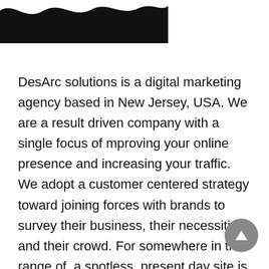[Figure (illustration): Decorative wave/ribbon graphic in black and dark gray tones, positioned at the top-left of the page]
DesArc solutions is a digital marketing agency based in New Jersey, USA. We are a result driven company with a single focus of mproving your online presence and increasing your traffic. We adopt a customer centered strategy toward joining forces with brands to survey their business, their necessities, and their crowd. For somewhere in the range of, a spotless, present day site is the essential goal, yet for other people, there is the requirement for a holistic approach that incorporates content, marketing and a multi-channel way to deal with